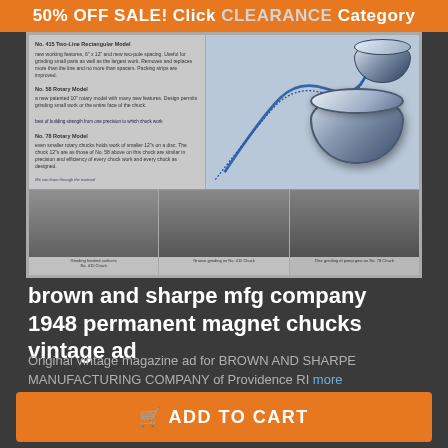50% OFF SALE! Click CLEARANCE Category
[Figure (photo): Vintage magazine advertisement for Brown & Sharpe Manufacturing Company showing permanent magnet chucks with product descriptions and grinding machine photos]
brown and sharpe mfg company 1948 permanent magnet chucks vintage ad
Original vintage magazine ad for BROWN AND SHARPE MANUFACTURING COMPANY of Providence RI more
$17.00  $12.75
You save: $4.25 (25%)
ADD TO CART